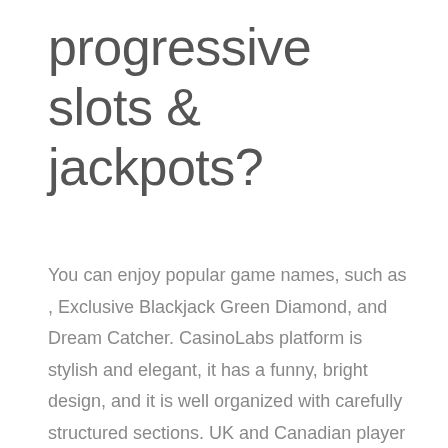progressive slots & jackpots?
You can enjoy popular game names, such as , Exclusive Blackjack Green Diamond, and Dream Catcher. CasinoLabs platform is stylish and elegant, it has a funny, bright design, and it is well organized with carefully structured sections. UK and Canadian player accepted. To be claimed once by any player. However, there are no native free slot gamesmobile apps for neither Android or iOS users. This is a flaw for Slots, as many players are accustomed to playing only on downloadable apps. All reputable platforms offer